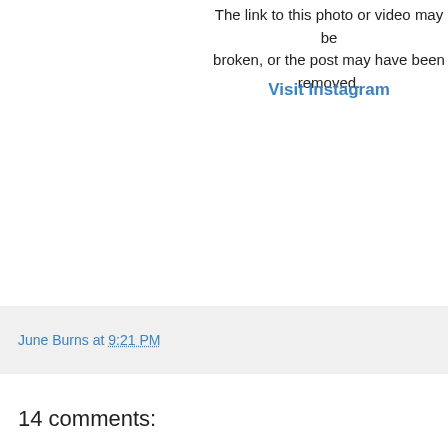The link to this photo or video may be broken, or the post may have been removed.
Visit Instagram
June Burns at 9:21 PM
14 comments: